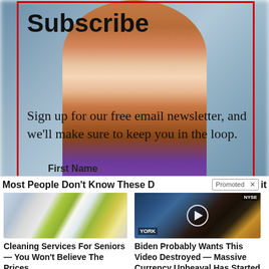[Figure (screenshot): Screenshot of a website newsletter subscribe overlay with a woman's photo in the background and a red border box. Text reads 'Subscribe' and 'Sign up for our free email newsletter, and we'll make sure to keep you in the loop.' with a 'First Name' field below.]
Subscribe
Sign up for our free email newsletter, and we'll make sure to keep you in the loop.
First Name
Most People Don't Know These D... it
Promoted
[Figure (photo): Cleaning services workers in green aprons working at a desk with a computer]
Cleaning Services For Seniors — You Won't Believe The Prices
🔥 2,158
[Figure (screenshot): NYSE stock market video thumbnail with play button overlay]
Biden Probably Wants This Video Destroyed — Massive Currency Upheaval Has Started
🔥 51,626